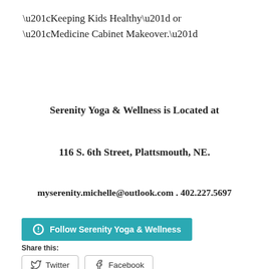“Keeping Kids Healthy” or “Medicine Cabinet Makeover.”
Serenity Yoga & Wellness is Located at
116 S. 6th Street, Plattsmouth, NE.
myserenity.michelle@outlook.com . 402.227.5697
Share this:
Twitter  Facebook
Follow Serenity Yoga & Wellness